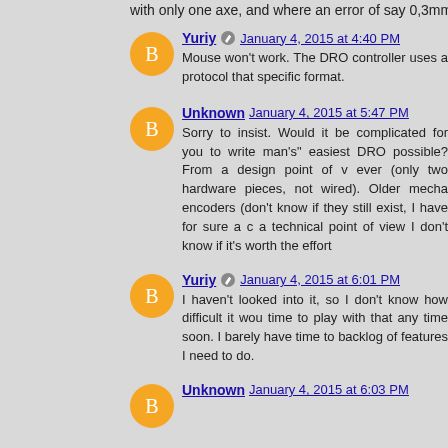with only one axe, and where an error of say 0,3mm is ok
Yuriy January 4, 2015 at 4:40 PM
Mouse won't work. The DRO controller uses a protocol that specific format.
Unknown January 4, 2015 at 5:47 PM
Sorry to insist. Would it be complicated for you to write man's" easiest DRO possible? From a design point of view ever (only two hardware pieces, not wired). Older mecha encoders (don't know if they still exist, I have for sure a c a technical point of view I don't know if it's worth the effort
Yuriy January 4, 2015 at 6:01 PM
I haven't looked into it, so I don't know how difficult it wou time to play with that any time soon. I barely have time to backlog of features I need to do.
Unknown January 4, 2015 at 6:03 PM